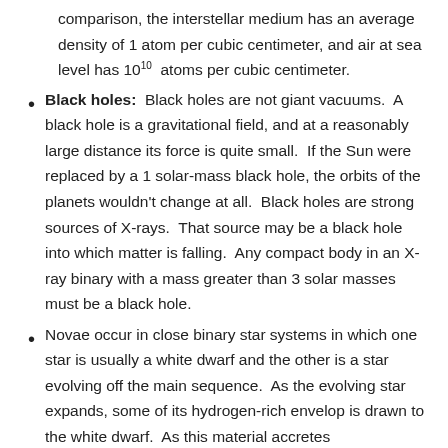comparison, the interstellar medium has an average density of 1 atom per cubic centimeter, and air at sea level has 10^10 atoms per cubic centimeter.
Black holes: Black holes are not giant vacuums. A black hole is a gravitational field, and at a reasonably large distance its force is quite small. If the Sun were replaced by a 1 solar-mass black hole, the orbits of the planets wouldn't change at all. Black holes are strong sources of X-rays. That source may be a black hole into which matter is falling. Any compact body in an X-ray binary with a mass greater than 3 solar masses must be a black hole.
Novae occur in close binary star systems in which one star is usually a white dwarf and the other is a star evolving off the main sequence. As the evolving star expands, some of its hydrogen-rich envelop is drawn to the white dwarf. As this material accretes on the white dwarf...